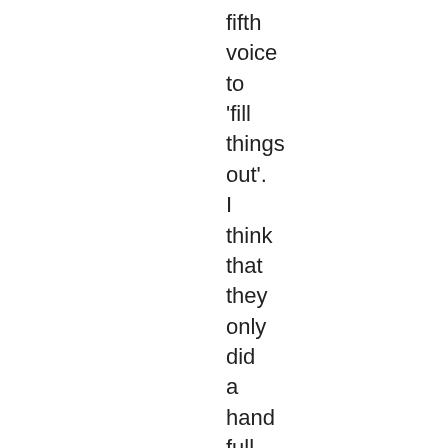fifth
voice
to
'fill
things
out'.
I
think
that
they
only
did
a
hand
full
of
gigs
before
I
joined.
What
a
blast
we
had